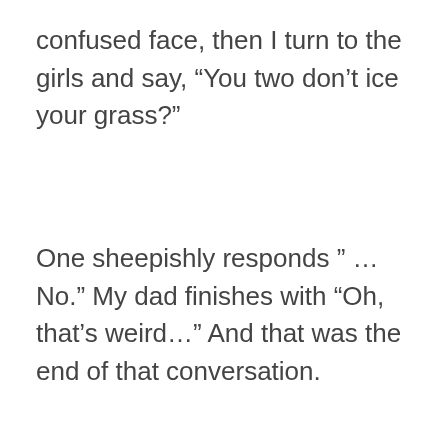confused face, then I turn to the girls and say, “You two don’t ice your grass?”
One sheepishly responds ” … No.” My dad finishes with “Oh, that’s weird…” And that was the end of that conversation.
Nickel5
[Figure (photo): Close-up photograph of ice cubes on green grass]